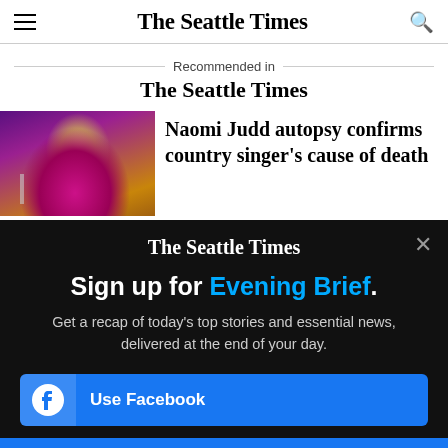The Seattle Times
Recommended in The Seattle Times
[Figure (photo): Photo of Naomi Judd performing on stage, wearing a pink outfit, holding a microphone, with purple and golden background lighting]
Naomi Judd autopsy confirms country singer's cause of death
[Figure (screenshot): Dark overlay popup for The Seattle Times newsletter signup: Sign up for Evening Brief. Get a recap of today's top stories and essential news, delivered at the end of your day. Use Facebook button.]
Sign up for Evening Brief.
Get a recap of today's top stories and essential news, delivered at the end of your day.
Use Facebook